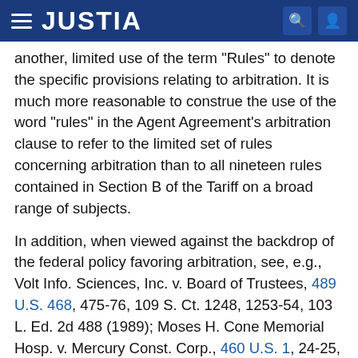JUSTIA
another, limited use of the term "Rules" to denote the specific provisions relating to arbitration. It is much more reasonable to construe the use of the word "rules" in the Agent Agreement's arbitration clause to refer to the limited set of rules concerning arbitration than to all nineteen rules contained in Section B of the Tariff on a broad range of subjects.
In addition, when viewed against the backdrop of the federal policy favoring arbitration, see, e.g., Volt Info. Sciences, Inc. v. Board of Trustees, 489 U.S. 468, 475-76, 109 S. Ct. 1248, 1253-54, 103 L. Ed. 2d 488 (1989); Moses H. Cone Memorial Hosp. v. Mercury Const. Corp., 460 U.S. 1, 24-25, 103 S. Ct. 927, 941-42, 74 L. Ed. 2d 765 (1983),8  and the generous reading given to broadly worded commercial arbitration agreements, see, e.g., Raytheon Co. v. Automated Bus. Sys., 882 F.2d 6, 9-11